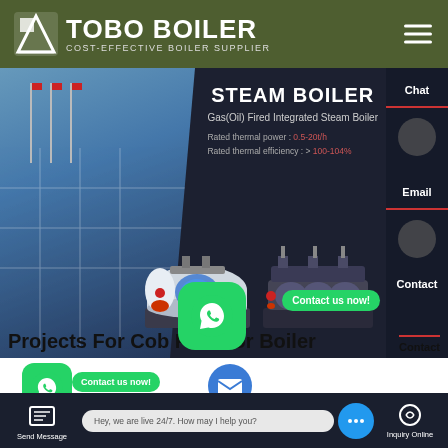[Figure (screenshot): Tobo Boiler website screenshot showing header with logo, steam boiler product hero image with building background, boiler equipment images, side contact panel, WhatsApp chat widgets, Projects For Cob Fuel For Boiler heading, and bottom navigation bar with Send Message and Inquiry Online options]
TOBO BOILER — COST-EFFECTIVE BOILER SUPPLIER
STEAM BOILER
Gas(Oil) Fired Integrated Steam Boiler
Rated thermal power : 0.5-20t/h
Rated thermal efficiency : > 100-104%
Chat
Email
Contact us now!
Projects For Cob Fuel For Boiler
Contact us now!
Contact
Hey, we are live 24/7. How may I help you?
Send Message
Inquiry Online